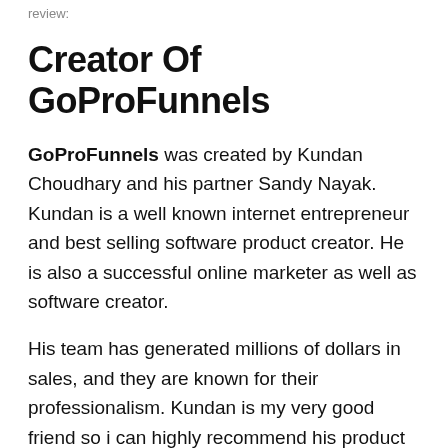review:
Creator Of GoProFunnels
GoProFunnels was created by Kundan Choudhary and his partner Sandy Nayak. Kundan is a well known internet entrepreneur and best selling software product creator. He is also a successful online marketer as well as software creator.
His team has generated millions of dollars in sales, and they are known for their professionalism. Kundan is my very good friend so i can highly recommend his product to you.